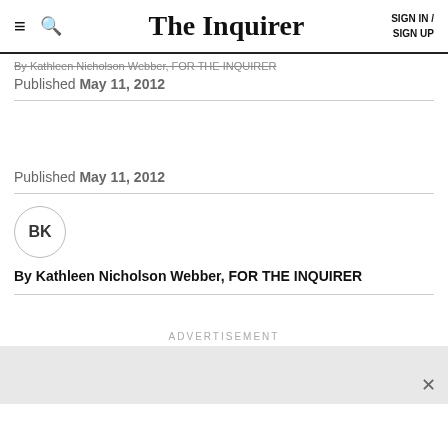The Inquirer | SIGN IN / SIGN UP
By Kathleen Nicholson Webber, FOR THE INQUIRER
Published May 11, 2012
Published May 11, 2012
BK
By Kathleen Nicholson Webber, FOR THE INQUIRER
ADVERTISEMENT